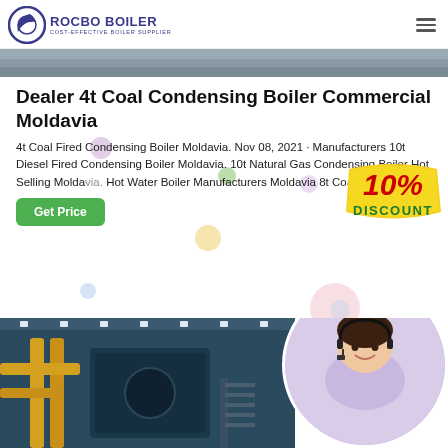[Figure (logo): Rocbo Boiler logo with crescent moon icon and text 'ROCBO BOILER - COST-EFFECTIVE BOILER SUPPLIER']
[Figure (photo): Top strip image of industrial boiler equipment]
Dealer 4t Coal Condensing Boiler Commercial Moldavia
4t Coal Fired Condensing Boiler Moldavia. Nov 08, 2021 · Manufacturers 10t Diesel Fired Condensing Boiler Moldavia. 10t Natural Gas Condensing Boiler Hot Selling Moldavia. Hot Water Boiler Manufacturers Moldavia 8t Co...
[Figure (infographic): 10% DISCOUNT badge in red and yellow/gold colors]
[Figure (photo): Industrial boiler room with yellow pipes and machinery]
[Figure (photo): Female customer service agent with headset in circular frame]